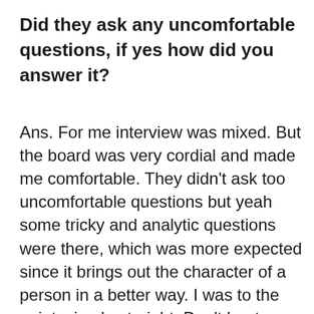Did they ask any uncomfortable questions, if yes how did you answer it?
Ans. For me interview was mixed. But the board was very cordial and made me comfortable. They didn't ask too uncomfortable questions but yeah some tricky and analytic questions were there, which was more expected since it brings out the character of a person in a better way. I was to the point, simple straight. Don't beat around the bush. Answer if you know and